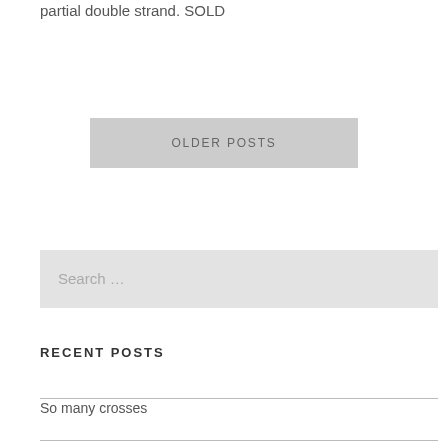partial double strand. SOLD
OLDER POSTS
Search ...
RECENT POSTS
So many crosses